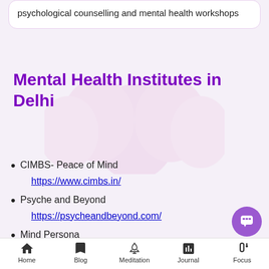psychological counselling and mental health workshops
Mental Health Institutes in Delhi
CIMBS- Peace of Mind
https://www.cimbs.in/
Psyche and Beyond
https://psycheandbeyond.com/
Mind Persona
https://www.mindpersona.com/
Utseek Psychology Clinic (partial)
Home  Blog  Meditation  Journal  Focus